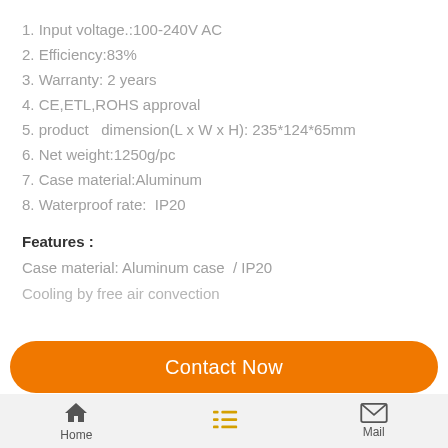1. Input voltage.:100-240V AC
2. Efficiency:83%
3. Warranty: 2 years
4. CE,ETL,ROHS approval
5. product  dimension(L x W x H): 235*124*65mm
6. Net weight:1250g/pc
7. Case material:Aluminum
8. Waterproof rate:  IP20
Features :
Case material: Aluminum case  / IP20
Cooling by free air convection
Contact Now | Home | Mail